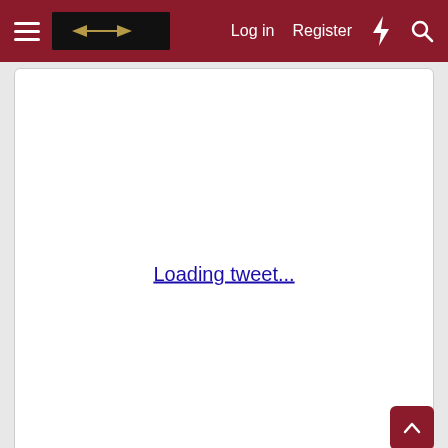Log in  Register
[Figure (screenshot): Loading tweet... link placeholder inside a white card]
alchemy2u and ethomasp31
[Figure (other): Gray bottom area with dark red scroll-up and scroll-down buttons, and a close X button]